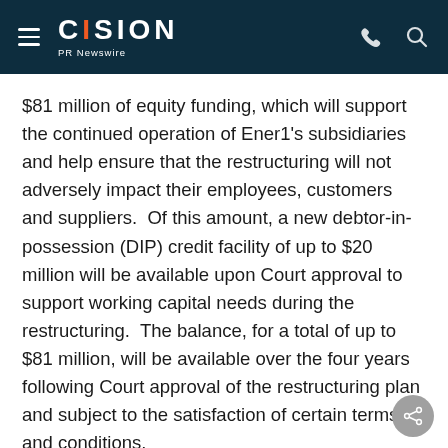CISION PR Newswire
$81 million of equity funding, which will support the continued operation of Ener1's subsidiaries and help ensure that the restructuring will not adversely impact their employees, customers and suppliers.  Of this amount, a new debtor-in-possession (DIP) credit facility of up to $20 million will be available upon Court approval to support working capital needs during the restructuring.  The balance, for a total of up to $81 million, will be available over the four years following Court approval of the restructuring plan and subject to the satisfaction of certain terms and conditions.